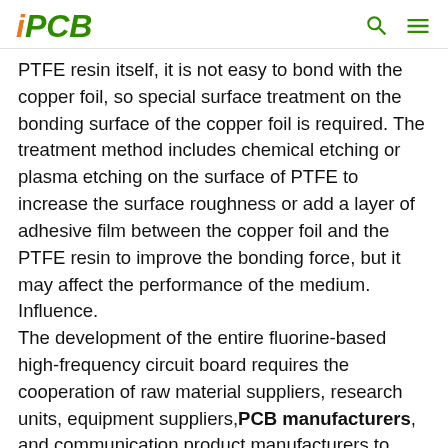iPCB
PTFE resin itself, it is not easy to bond with the copper foil, so special surface treatment on the bonding surface of the copper foil is required. The treatment method includes chemical etching or plasma etching on the surface of PTFE to increase the surface roughness or add a layer of adhesive film between the copper foil and the PTFE resin to improve the bonding force, but it may affect the performance of the medium. Influence.
The development of the entire fluorine-based high-frequency circuit board requires the cooperation of raw material suppliers, research units, equipment suppliers, PCB manufacturers, and communication product manufacturers to keep up with the rapid development of high-frequency circuit boards in this field. .